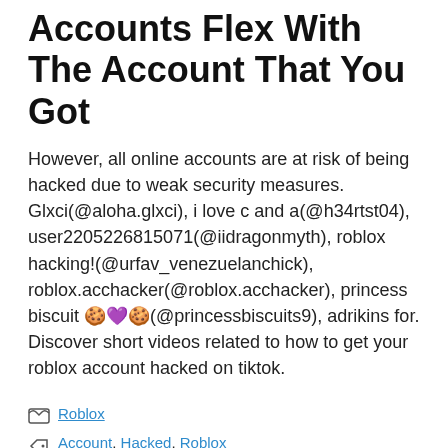Accounts Flex With The Account That You Got
However, all online accounts are at risk of being hacked due to weak security measures. Glxci(@aloha.glxci), i love c and a(@h34rtst04), user2205226815071(@iidragonmyth), roblox hacking!(@urfav_venezuelanchick), roblox.acchacker(@roblox.acchacker), princess biscuit 🍪💜🍪(@princessbiscuits9), adrikins for. Discover short videos related to how to get your roblox account hacked on tiktok.
Roblox
Account, Hacked, Roblox